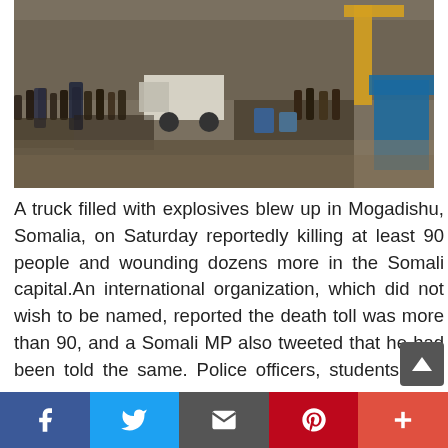[Figure (photo): Crowd scene in Mogadishu, Somalia, showing many people gathered in a market or street area with vehicles and buildings in the background after a truck bomb explosion.]
A truck filled with explosives blew up in Mogadishu, Somalia, on Saturday reportedly killing at least 90 people and wounding dozens more in the Somali capital.An international organization, which did not wish to be named, reported the death toll was more than 90, and a Somali MP also tweeted that he had been told the same. Police officers, students, and two Turkish nationals were reportedly among the victims, Reuters reports.The blast was the latest in a series of
[Figure (other): Scroll-to-top button (dark grey arrow up icon)]
Facebook | Twitter | Email | Pinterest | Plus